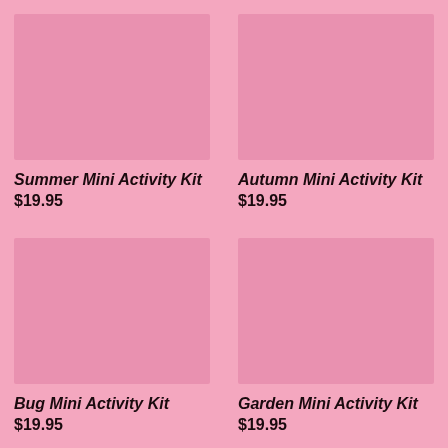[Figure (photo): Product image placeholder for Summer Mini Activity Kit]
Summer Mini Activity Kit
$19.95
[Figure (photo): Product image placeholder for Autumn Mini Activity Kit]
Autumn Mini Activity Kit
$19.95
[Figure (photo): Product image placeholder for Bug Mini Activity Kit]
Bug Mini Activity Kit
$19.95
[Figure (photo): Product image placeholder for Garden Mini Activity Kit]
Garden Mini Activity Kit
$19.95